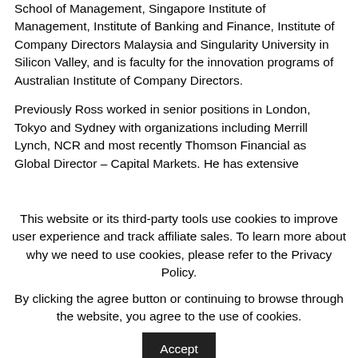School of Management, Singapore Institute of Management, Institute of Banking and Finance, Institute of Company Directors Malaysia and Singularity University in Silicon Valley, and is faculty for the innovation programs of Australian Institute of Company Directors.
Previously Ross worked in senior positions in London, Tokyo and Sydney with organizations including Merrill Lynch, NCR and most recently Thomson Financial as Global Director – Capital Markets. He has extensive
This website or its third-party tools use cookies to improve user experience and track affiliate sales. To learn more about why we need to use cookies, please refer to the Privacy Policy.
By clicking the agree button or continuing to browse through the website, you agree to the use of cookies.
Privacy Policy